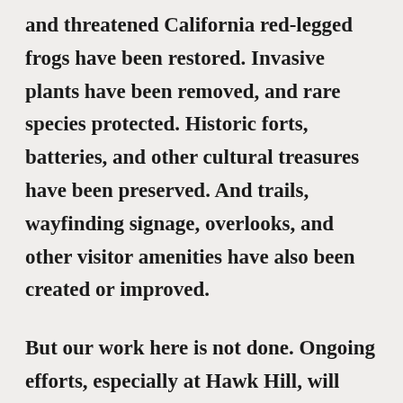and threatened California red-legged frogs have been restored. Invasive plants have been removed, and rare species protected. Historic forts, batteries, and other cultural treasures have been preserved. And trails, wayfinding signage, overlooks, and other visitor amenities have also been created or improved.

But our work here is not done. Ongoing efforts, especially at Hawk Hill, will continue to protect sensitive habitats and rare species while creating improved